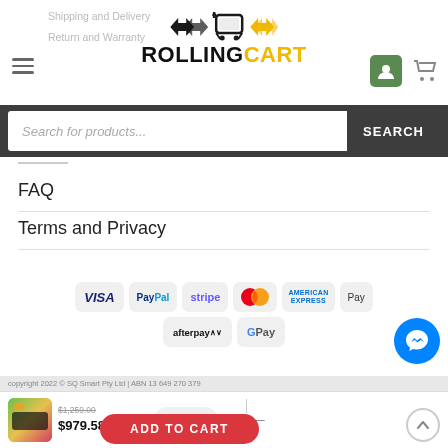[Figure (screenshot): RollingCart e-commerce website header with logo, hamburger menu, navigation links, user and cart icons]
Shipping and Delivery
Return and Warranty
[Figure (logo): RollingCart logo with shopping cart icon and arrow icons]
Search for products...
SEARCH
FAQ
Terms and Privacy
[Figure (other): Payment method logos: VISA, PayPal, stripe, MasterCard, American Express, Apple Pay, afterpay, G Pay]
[Figure (other): Facebook Messenger chat bubble button]
copyright 2022 © SQ Smart Pty Ltd | ABN 13 649 270 379
$1,259.00 $979.58 Inc. GST
ADD TO CART